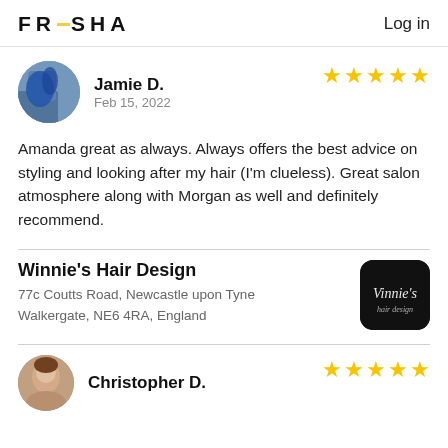FRESHA   Log in
Jamie D.
Feb 15, 2022
Amanda great as always. Always offers the best advice on styling and looking after my hair (I'm clueless). Great salon atmosphere along with Morgan as well and definitely recommend.
Winnie's Hair Design
77c Coutts Road, Newcastle upon Tyne
Walkergate, NE6 4RA, England
Christopher D.